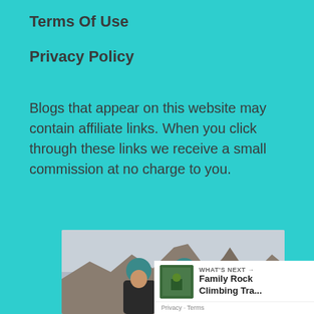Terms Of Use
Privacy Policy
Blogs that appear on this website may contain affiliate links. When you click through these links we receive a small commission at no charge to you.
[Figure (photo): Two women wearing teal climbing helmets smiling on a rocky mountain summit, one making a peace sign. Overcast sky and jagged rock peaks in background.]
WHAT'S NEXT → Family Rock Climbing Tra...